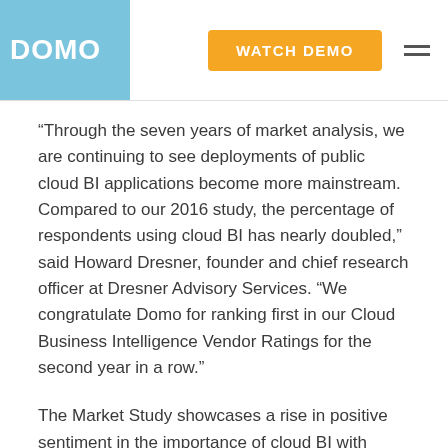DOMO | WATCH DEMO
“Through the seven years of market analysis, we are continuing to see deployments of public cloud BI applications become more mainstream. Compared to our 2016 study, the percentage of respondents using cloud BI has nearly doubled,” said Howard Dresner, founder and chief research officer at Dresner Advisory Services. “We congratulate Domo for ranking first in our Cloud Business Intelligence Vendor Ratings for the second year in a row.”
The Market Study showcases a rise in positive sentiment in the importance of cloud BI with successful organizations continuing to cite substantial benefits over traditional on-premises implementations. The Market Study also lists